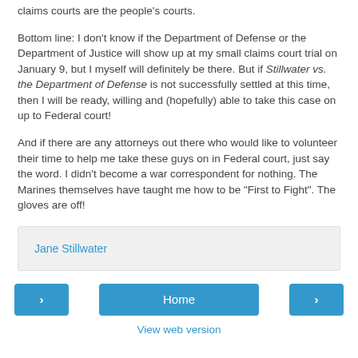claims courts are the people's courts.
Bottom line: I don't know if the Department of Defense or the Department of Justice will show up at my small claims court trial on January 9, but I myself will definitely be there. But if Stillwater vs. the Department of Defense is not successfully settled at this time, then I will be ready, willing and (hopefully) able to take this case on up to Federal court!
And if there are any attorneys out there who would like to volunteer their time to help me take these guys on in Federal court, just say the word. I didn't become a war correspondent for nothing. The Marines themselves have taught me how to be "First to Fight". The gloves are off!
Jane Stillwater
Home
View web version